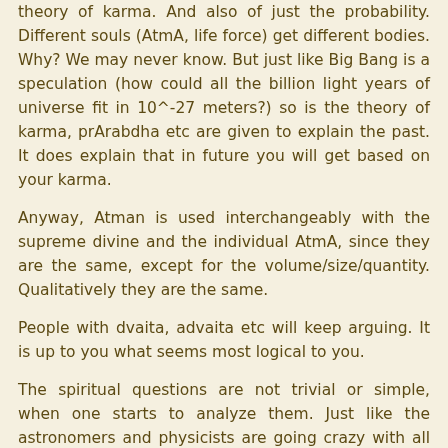theory of karma. And also of just the probability. Different souls (AtmA, life force) get different bodies. Why? We may never know. But just like Big Bang is a speculation (how could all the billion light years of universe fit in 10^-27 meters?) so is the theory of karma, prArabdha etc are given to explain the past. It does explain that in future you will get based on your karma.
Anyway, Atman is used interchangeably with the supreme divine and the individual AtmA, since they are the same, except for the volume/size/quantity. Qualitatively they are the same.
People with dvaita, advaita etc will keep arguing. It is up to you what seems most logical to you.
The spiritual questions are not trivial or simple, when one starts to analyze them. Just like the astronomers and physicists are going crazy with all the data but no definite answer, so is the true spiritual quest complex.
Anyway, discussions are better than debates. We take